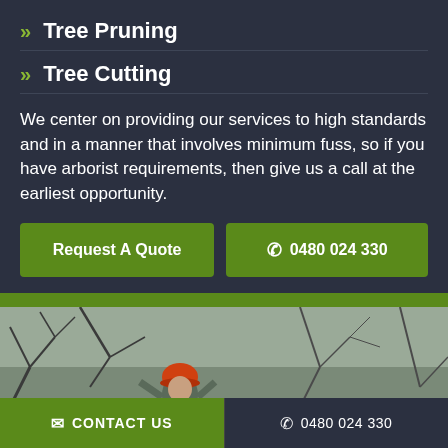Tree Pruning
Tree Cutting
We center on providing our services to high standards and in a manner that involves minimum fuss, so if you have arborist requirements, then give us a call at the earliest opportunity.
Request A Quote
0480 024 330
[Figure (photo): Person in orange helmet among bare tree branches in winter]
CONTACT US  |  0480 024 330